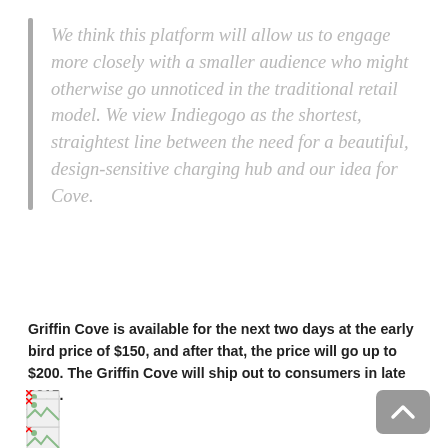We think this platform will allow us to engage more closely with a smaller audience who might otherwise go unnoticed in the traditional retail model. We view Indiegogo as the shortest, straightest line between the need for a beautiful, design-sensitive charging hub and our idea for Cove.
Griffin Cove is available for the next two days at the early bird price of $150, and after that, the price will go up to $200. The Griffin Cove will ship out to consumers in late 2015.
[Figure (other): Three broken image placeholder icons stacked vertically]
[Figure (other): One broken image placeholder icon]
[Figure (other): Scroll-to-top button (caret/chevron up icon on grey rounded rectangle)]